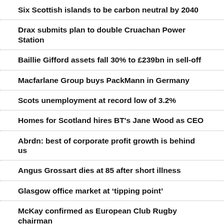Six Scottish islands to be carbon neutral by 2040
Drax submits plan to double Cruachan Power Station
Baillie Gifford assets fall 30% to £239bn in sell-off
Macfarlane Group buys PackMann in Germany
Scots unemployment at record low of 3.2%
Homes for Scotland hires BT's Jane Wood as CEO
Abrdn: best of corporate profit growth is behind us
Angus Grossart dies at 85 after short illness
Glasgow office market at 'tipping point'
McKay confirmed as European Club Rugby chairman